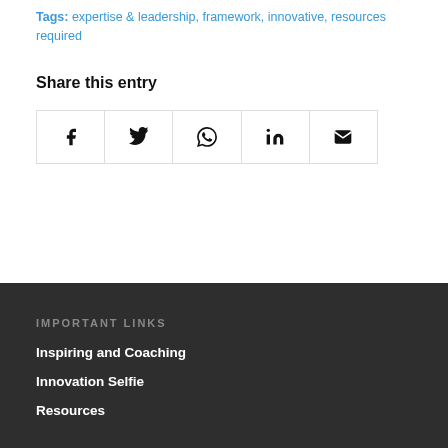Tags: expertise & leadership, framework, innovative, resources required
Share this entry
[Figure (other): Row of five social media share icon buttons: Facebook, Twitter, WhatsApp, LinkedIn, Email]
IMPORTANT LINKS
Inspiring and Coaching
Innovation Selfie
Resources